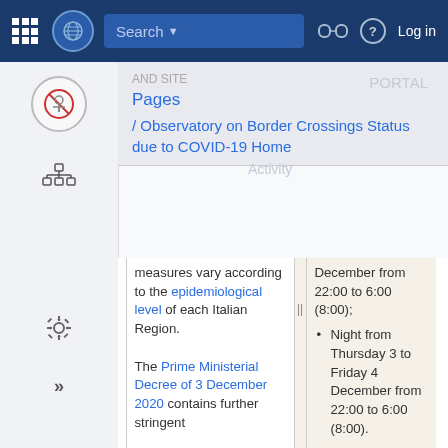Search | Log in — UN website navigation bar
Pages
/ Observatory on Border Crossings Status due to COVID-19 Home
| Column 1 |  | Column 2 |
| --- | --- | --- |
| measures vary according to the epidemiological level of each Italian Region.

The Prime Ministerial Decree of 3 December 2020 contains further stringent |  | December from 22:00 to 6:00 (8:00);
• Night from Thursday 3 to Friday 4 December from 22:00 to 6:00 (8:00).

It is recommended that users inform |